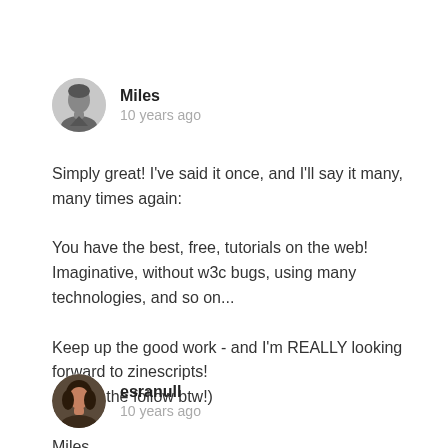[Figure (photo): Black and white avatar photo of a young man, cropped circular]
Miles
10 years ago
Simply great! I've said it once, and I'll say it many, many times again:

You have the best, free, tutorials on the web! Imaginative, without w3c bugs, using many technologies, and so on...

Keep up the good work - and I'm REALLY looking forward to zinescripts!
(thx for the follow btw!)

Miles.
[Figure (photo): Color avatar photo of a woman with dark hair, cropped circular]
esranull
10 years ago